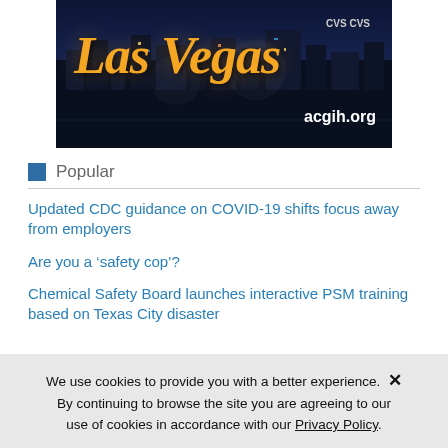[Figure (photo): Las Vegas promotional banner image with city nightscape, golden cursive 'Las Vegas' text and acgih.org URL]
Popular
Updated CDC guidance on COVID-19 shifts focus away from employers
Are you a ‘safety cop’?
Chemical Safety Board launches interactive PSM training based on Texas City disaster
We use cookies to provide you with a better experience. By continuing to browse the site you are agreeing to our use of cookies in accordance with our Privacy Policy.